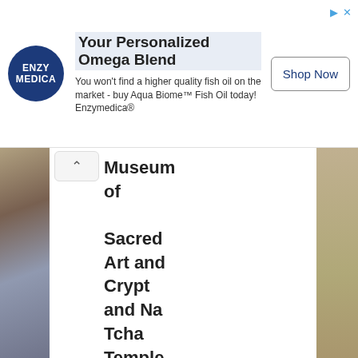[Figure (screenshot): Advertisement banner for Enzymedica Aqua Biome Fish Oil with logo, headline, body text, and Shop Now button]
Museum of Sacred Art and Crypt and Na Tcha Temple
[Figure (photo): Thumbnail: Sabtang Island, Batanes aerial coastal view]
[Figure (photo): Thumbnail: Ssam Your Way colorful food display]
[Figure (photo): Thumbnail: Maniwaya Island in Marinduque woman in water]
[Figure (photo): Thumbnail: Apayao Road Trip Part 2 woman on rocks]
[Figure (photo): Thumbnail: Family Goals Caramoa beach]
Sabtang Island, Batanes:
Ssam Your Way at
Maniwaya Island in Marinduque
Apayao Road Trip- Part 2:
Family Goals: Caramoa